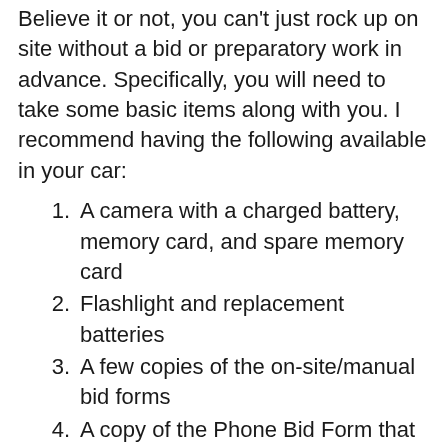Believe it or not, you can't just rock up on site without a bid or preparatory work in advance. Specifically, you will need to take some basic items along with you. I recommend having the following available in your car:
A camera with a charged battery, memory card, and spare memory card
Flashlight and replacement batteries
A few copies of the on-site/manual bid forms
A copy of the Phone Bid Form that you completed when you were first contacted
Pens, pencils, and a clipboard
A hard hat